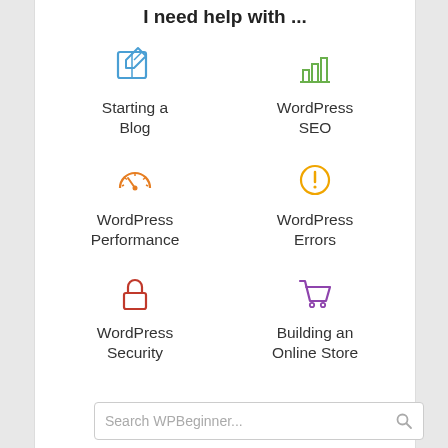I need help with ...
[Figure (illustration): Blue pen/edit icon]
Starting a Blog
[Figure (illustration): Green bar chart icon]
WordPress SEO
[Figure (illustration): Orange speedometer icon]
WordPress Performance
[Figure (illustration): Yellow exclamation in circle icon]
WordPress Errors
[Figure (illustration): Red padlock icon]
WordPress Security
[Figure (illustration): Purple shopping cart icon]
Building an Online Store
Search WPBeginner...